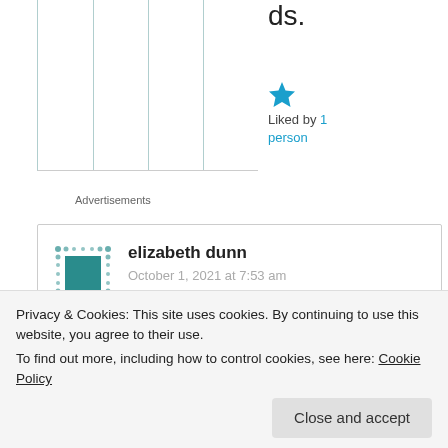ds.
[Figure (illustration): Blue filled star icon (liked/favorite indicator)]
Liked by 1 person
Advertisements
elizabeth dunn
October 1, 2021 at 7:53 am
Privacy & Cookies: This site uses cookies. By continuing to use this website, you agree to their use.
To find out more, including how to control cookies, see here: Cookie Policy
Close and accept